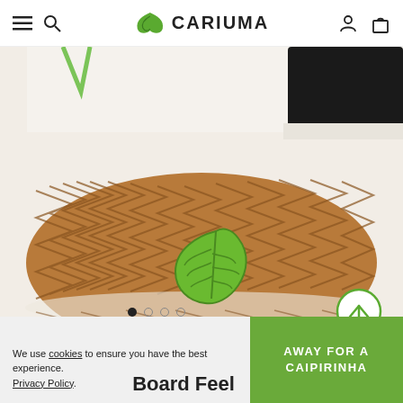CARIUMA — navigation header with hamburger menu, search, logo, account and cart icons
[Figure (photo): Close-up photograph of the rubber outsole of a Cariuma sneaker showing a brown herringbone/zigzag tread pattern with a bright green leaf-shaped Cariuma logo emblem in the center. Upper portion shows the white midsole and black knit upper.]
We use cookies to ensure you have the best experience. Privacy Policy.
Board Feel
AWAY FOR A CAIPIRINHA